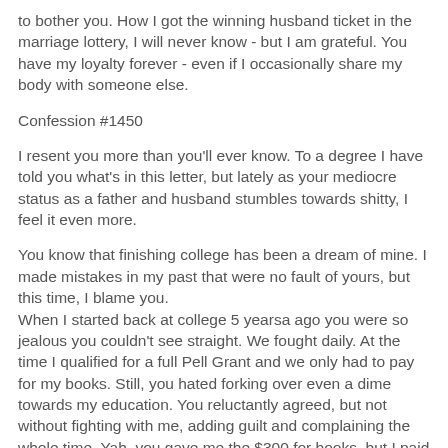to bother you. How I got the winning husband ticket in the marriage lottery, I will never know - but I am grateful. You have my loyalty forever - even if I occasionally share my body with someone else.
Confession #1450
I resent you more than you'll ever know. To a degree I have told you what's in this letter, but lately as your mediocre status as a father and husband stumbles towards shitty, I feel it even more.
You know that finishing college has been a dream of mine. I made mistakes in my past that were no fault of yours, but this time, I blame you.
When I started back at college 5 yearsa ago you were so jealous you couldn't see straight. We fought daily. At the time I qualified for a full Pell Grant and we only had to pay for my books. Still, you hated forking over even a dime towards my education. You reluctantly agreed, but not without fighting with me, adding guilt and complaining the whole time. Yah, you gave me the $300 for books, but I paid for it every step